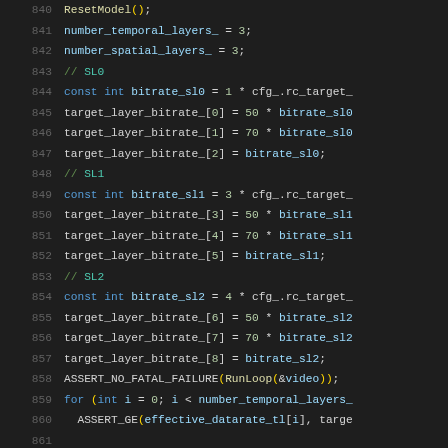Source code snippet, lines 840-861, C++ code for bitrate layer configuration with temporal and spatial layers
840: ResetModel();
841: number_temporal_layers_ = 3;
842: number_spatial_layers_ = 3;
843: // SL0
844: const int bitrate_sl0 = 1 * cfg_.rc_target_
845: target_layer_bitrate_[0] = 50 * bitrate_sl0
846: target_layer_bitrate_[1] = 70 * bitrate_sl0
847: target_layer_bitrate_[2] = bitrate_sl0;
848: // SL1
849: const int bitrate_sl1 = 3 * cfg_.rc_target_
850: target_layer_bitrate_[3] = 50 * bitrate_sl1
851: target_layer_bitrate_[4] = 70 * bitrate_sl1
852: target_layer_bitrate_[5] = bitrate_sl1;
853: // SL2
854: const int bitrate_sl2 = 4 * cfg_.rc_target_
855: target_layer_bitrate_[6] = 50 * bitrate_sl2
856: target_layer_bitrate_[7] = 70 * bitrate_sl2
857: target_layer_bitrate_[8] = bitrate_sl2;
858: ASSERT_NO_FATAL_FAILURE(RunLoop(&video));
859: for (int i = 0; i < number_temporal_layers_
860: ASSERT_GE(effective_datarate_tl[i], targe
861: (partial, cut off)